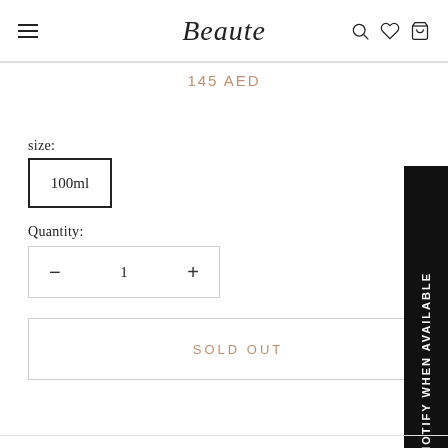Beauté
145 AED
size:
100ml
Quantity:
− 1 +
SOLD OUT
NOTIFY WHEN AVAILABLE